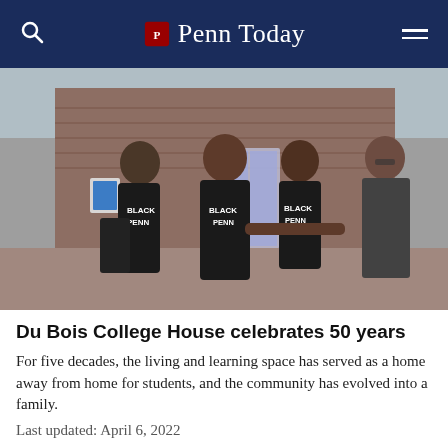Penn Today
[Figure (photo): Three young Black women wearing 'BLACK PENN' sweatshirts shaking hands with a man in a suit outside a brick building, likely on the University of Pennsylvania campus.]
Du Bois College House celebrates 50 years
For five decades, the living and learning space has served as a home away from home for students, and the community has evolved into a family.
Last updated: April 6, 2022